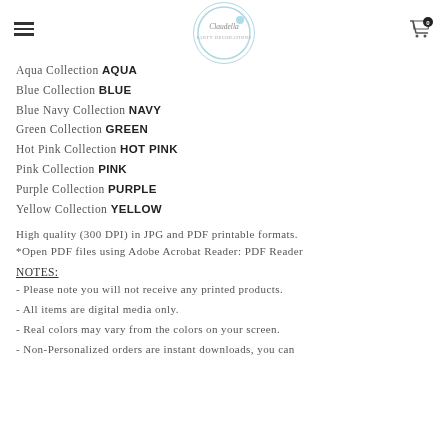Claudella [logo]
Aqua Collection AQUA
Blue Collection BLUE
Blue Navy Collection NAVY
Green Collection GREEN
Hot Pink Collection HOT PINK
Pink Collection PINK
Purple Collection PURPLE
Yellow Collection YELLOW
High quality (300 DPI) in JPG and PDF printable formats.
*Open PDF files using Adobe Acrobat Reader: PDF Reader
NOTES:
- Please note you will not receive any printed products.
- All items are digital media only.
- Real colors may vary from the colors on your screen.
- Non-Personalized orders are instant downloads, you can access the files as they appear once you confirm the order.